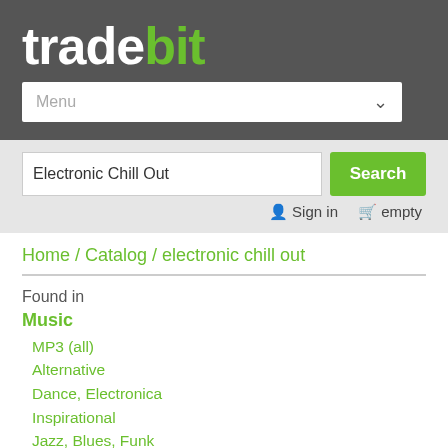tradebit
Menu
Electronic Chill Out  Search
Sign in   empty
Home / Catalog / electronic chill out
Found in
Music
MP3 (all)
Alternative
Dance, Electronica
Inspirational
Jazz, Blues, Funk
Lite Sounds
Pop
RnB, Soul